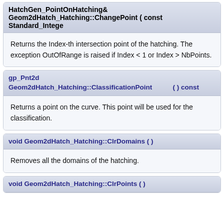HatchGen_PointOnHatching& Geom2dHatch_Hatching::ChangePoint ( const Standard_Integer
Returns the Index-th intersection point of the hatching. The exception OutOfRange is raised if Index < 1 or Index > NbPoints.
gp_Pnt2d Geom2dHatch_Hatching::ClassificationPoint ( ) const
Returns a point on the curve. This point will be used for the classification.
void Geom2dHatch_Hatching::ClrDomains ( )
Removes all the domains of the hatching.
void Geom2dHatch_Hatching::ClrPoints ( )